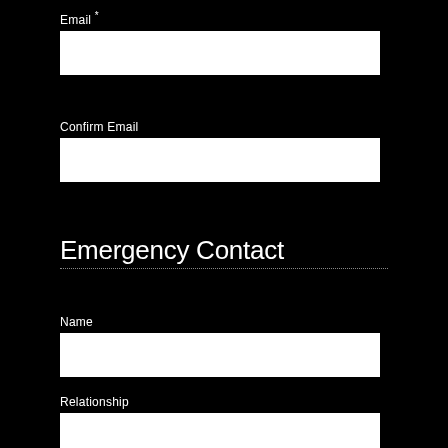Email *
[Figure (other): Empty white input field for Email]
Confirm Email
[Figure (other): Empty white input field for Confirm Email]
Emergency Contact
Name
[Figure (other): Empty white input field for Name]
Relationship
[Figure (other): Empty white input field for Relationship]
Emergency Phone
[Figure (other): Empty white input field for Emergency Phone]
Emergency Email
[Figure (other): Empty white input field for Emergency Email (partially visible)]